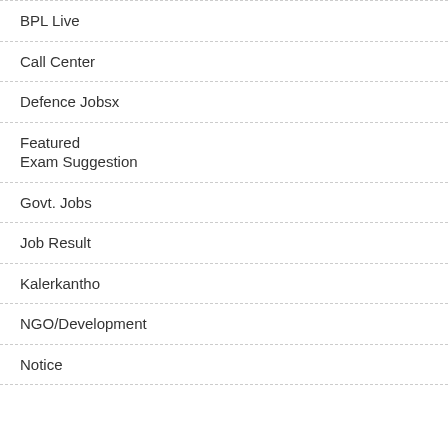BPL Live
Call Center
Defence Jobsx
Featured
Exam Suggestion
Govt. Jobs
Job Result
Kalerkantho
NGO/Development
Notice